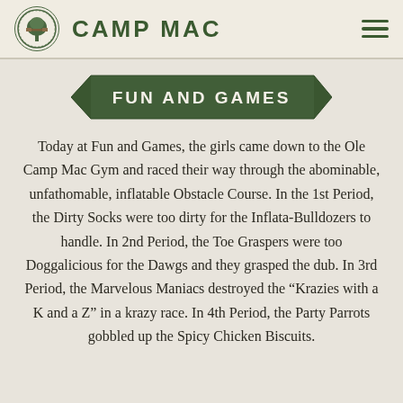CAMP MAC
FUN AND GAMES
Today at Fun and Games, the girls came down to the Ole Camp Mac Gym and raced their way through the abominable, unfathomable, inflatable Obstacle Course. In the 1st Period, the Dirty Socks were too dirty for the Inflata-Bulldozers to handle. In 2nd Period, the Toe Graspers were too Doggalicious for the Dawgs and they grasped the dub. In 3rd Period, the Marvelous Maniacs destroyed the “Krazies with a K and a Z” in a krazy race. In 4th Period, the Party Parrots gobbled up the Spicy Chicken Biscuits.